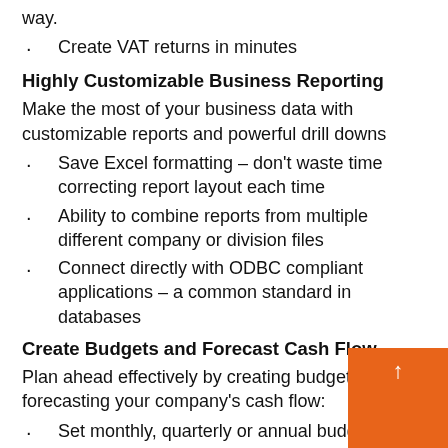way.
Create VAT returns in minutes
Highly Customizable Business Reporting
Make the most of your business data with customizable reports and powerful drill downs
Save Excel formatting – don't waste time correcting report layout each time
Ability to combine reports from multiple different company or division files
Connect directly with ODBC compliant applications – a common standard in databases
Create Budgets and Forecast Cash Flow
Plan ahead effectively by creating budgets and forecasting your company's cash flow:
Set monthly, quarterly or annual budgets
Track your performance and compare a